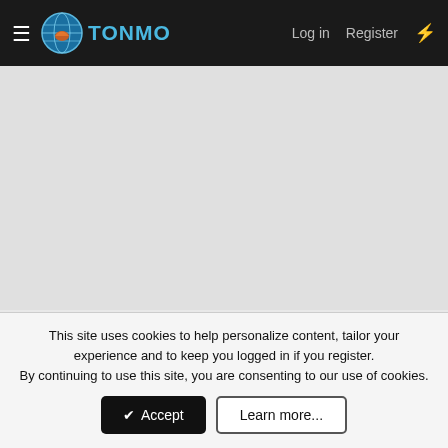TONMO  Log in  Register
[Figure (screenshot): Gray advertisement/content placeholder area]
< Tank Talk
[Old Board Archive] Live rock comments, etc...
tonmo · Dec 8, 2002
This site uses cookies to help personalize content, tailor your experience and to keep you logged in if you register.
By continuing to use this site, you are consenting to our use of cookies.
✔ Accept   Learn more...